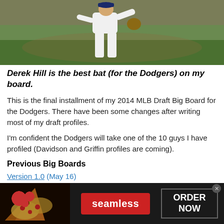[Figure (photo): Baseball player in white uniform fielding on a green grass field, viewed from waist down]
Derek Hill is the best bat (for the Dodgers) on my board.
This is the final installment of my 2014 MLB Draft Big Board for the Dodgers. There have been some changes after writing most of my draft profiles.
I'm confident the Dodgers will take one of the 10 guys I have profiled (Davidson and Griffin profiles are coming).
Previous Big Boards
Version 1.0 (May 16)
Version 2.0 (May 27)
This is a ranking of the players I think could be
[Figure (photo): Seamless food delivery advertisement banner with pizza image, seamless logo button, and ORDER NOW button]